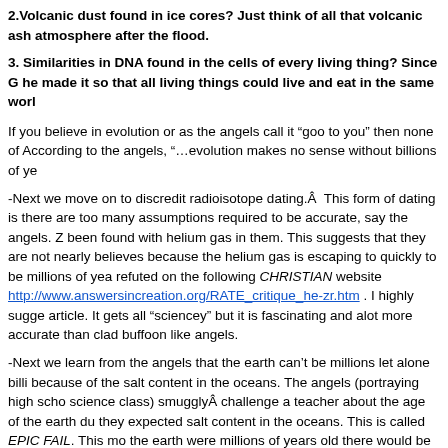2.Volcanic dust found in ice cores? Just think of all that volcanic ash atmosphere after the flood.
3. Similarities in DNA found in the cells of every living thing? Since G he made it so that all living things could live and eat in the same worl
If you believe in evolution or as the angels call it “goo to you” then none of According to the angels, “…evolution makes no sense without billions of ye
-Next we move on to discredit radioisotope dating.Â  This form of dating is there are too many assumptions required to be accurate, say the angels. Z been found with helium gas in them. This suggests that they are not nearly believes because the helium gas is escaping to quickly to be millions of yea refuted on the following CHRISTIAN website http://www.answersincreation.org/RATE_critique_he-zr.htm . I highly sugge article. It gets all “sciencey” but it is fascinating and alot more accurate than clad buffoon like angels.
-Next we learn from the angels that the earth can’t be millions let alone billi because of the salt content in the oceans. The angels (portraying high scho science class) smugglyÂ challenge a teacher about the age of the earth du they expected salt content in the oceans. This is called EPIC FAIL. This mo the earth were millions of years old there would be higher concentrations.